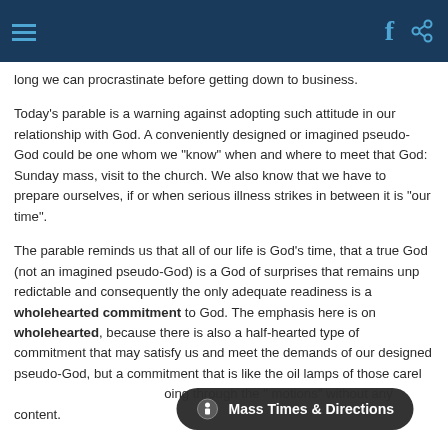Navigation header with hamburger menu, Facebook icon, and share icon
long we can procrastinate before getting down to business.
Today's parable is a warning against adopting such attitude in our relationship with God. A conveniently designed or imagined pseudo-God could be one whom we "know" when and where to meet that God: Sunday mass, visit to the church. We also know that we have to prepare ourselves, if or when serious illness strikes in between it is "our time".
The parable reminds us that all of our life is God's time, that a true God (not an imagined pseudo-God) is a God of surprises that remains unpredictable and consequently the only adequate readiness is a wholehearted commitment to God. The emphasis here is on wholehearted, because there is also a half-hearted type of commitment that may satisfy us and meet the demands of our designed pseudo-God, but a commitment that is like the oil lamps of those careless virgins: going through the "motions" without any content.
[Figure (other): Mass Times & Directions toast notification button at the bottom of the screen]